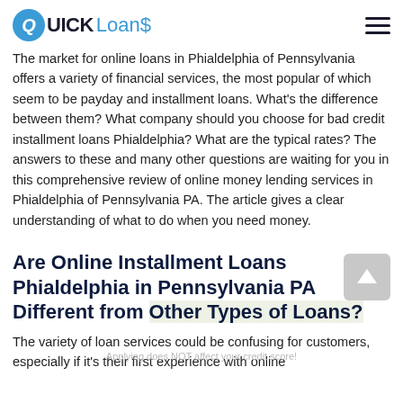QUICK Loans
The market for online loans in Phialdelphia of Pennsylvania offers a variety of financial services, the most popular of which seem to be payday and installment loans. What's the difference between them? What company should you choose for bad credit installment loans Phialdelphia? What are the typical rates? The answers to these and many other questions are waiting for you in this comprehensive review of online money lending services in Phialdelphia of Pennsylvania PA. The article gives a clear understanding of what to do when you need money.
Are Online Installment Loans Phialdelphia in Pennsylvania PA Different from Other Types of Loans?
The variety of loan services could be confusing for customers, especially if it's their first experience with online